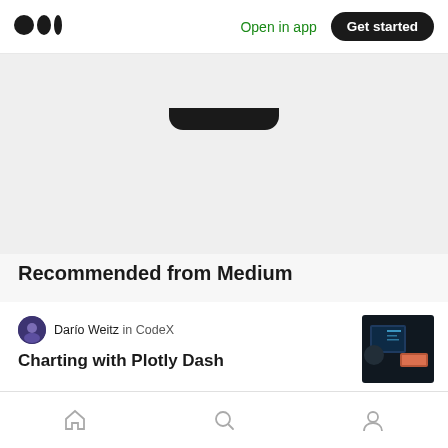Medium logo | Open in app | Get started
[Figure (screenshot): Dark pill / app banner top portion]
Recommended from Medium
Darío Weitz in CodeX
Charting with Plotly Dash
[Figure (photo): Thumbnail: dark coding scene with person at computer]
Amit Shekhar in MindOrks
Android Top Animation Libraries
[Figure (screenshot): Thumbnail: MindOrks Android branding purple background]
Home | Search | Profile navigation icons